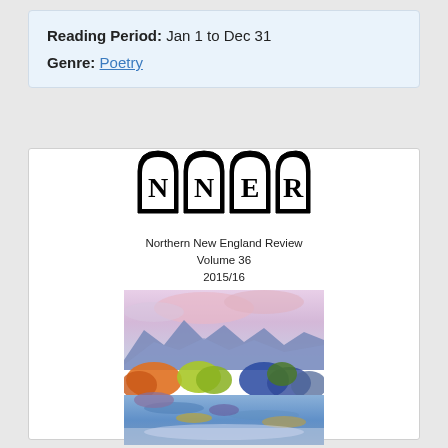Reading Period:  Jan 1 to Dec 31
Genre:  Poetry
[Figure (illustration): Cover of Northern New England Review, Volume 36, 2015/16. Shows the NNER logo with four gothic arch shapes containing letters N, N, E, R, and below it a watercolor landscape painting with mountains, colorful autumn trees (orange, yellow, green), and a blue river/lake in the foreground.]